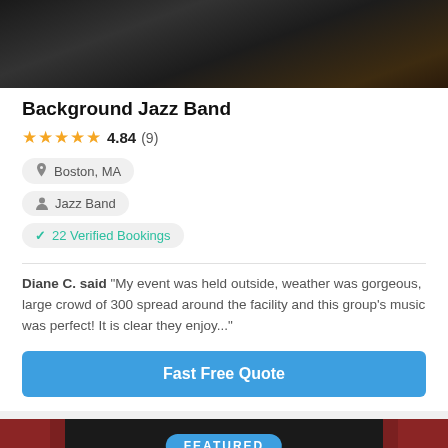[Figure (photo): Dark stage photo showing performers, dark background with geometric floor pattern]
Background Jazz Band
★★★★★ 4.84 (9)
Boston, MA
Jazz Band
✓ 22 Verified Bookings
Diane C. said "My event was held outside, weather was gorgeous, large crowd of 300 spread around the facility and this group's music was perfect! It is clear they enjoy..."
Fast Free Quote
[Figure (photo): Stage photo with Christmas trees, colorful stage lighting, red curtains on sides, FEATURED badge overlay]